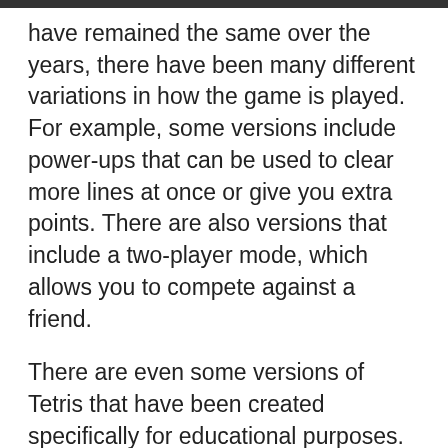have remained the same over the years, there have been many different variations in how the game is played. For example, some versions include power-ups that can be used to clear more lines at once or give you extra points. There are also versions that include a two-player mode, which allows you to compete against a friend.
There are even some versions of Tetris that have been created specifically for educational purposes. These versions of the game can help to teach children things like shapes, colors, and patterns.
Naturally, finding out how many actual versions of Tetris there would be extremely difficult to